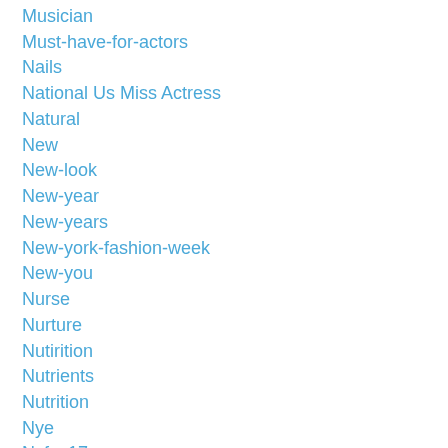Musician
Must-have-for-actors
Nails
National Us Miss Actress
Natural
New
New-look
New-year
New-years
New-york-fashion-week
New-you
Nurse
Nurture
Nutirition
Nutrients
Nutrition
Nye
Nyfw-17
Olive-oil
On Camera Talent
Open-call